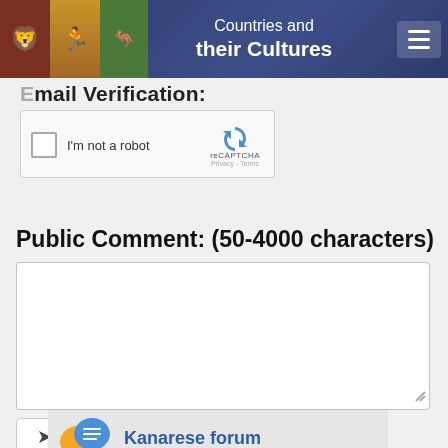Countries and their Cultures
Email Verification:
[Figure (screenshot): reCAPTCHA widget with checkbox labeled I'm not a robot]
Public Comment: (50-4000 characters)
[Figure (screenshot): Empty text area for public comment input]
Send comment
Kanarese forum